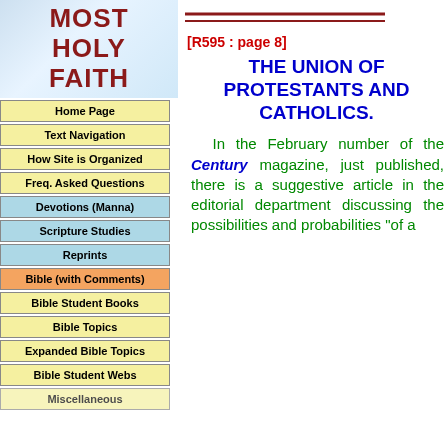MOST HOLY FAITH
Home Page
Text Navigation
How Site is Organized
Freq. Asked Questions
Devotions (Manna)
Scripture Studies
Reprints
Bible (with Comments)
Bible Student Books
Bible Topics
Expanded Bible Topics
Bible Student Webs
Miscellaneous
[R595 : page 8]
THE UNION OF PROTESTANTS AND CATHOLICS.
In the February number of the Century magazine, just published, there is a suggestive article in the editorial department discussing the possibilities and probabilities "of a